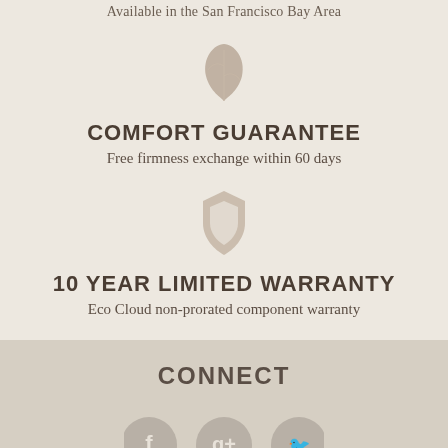Available in the San Francisco Bay Area
[Figure (illustration): Leaf icon in tan/beige color]
COMFORT GUARANTEE
Free firmness exchange within 60 days
[Figure (illustration): Shield icon in tan/beige color]
10 YEAR LIMITED WARRANTY
Eco Cloud non-prorated component warranty
CONNECT
[Figure (illustration): Row of three social media icons (Facebook, Google+, Twitter) in grey/tan circles]